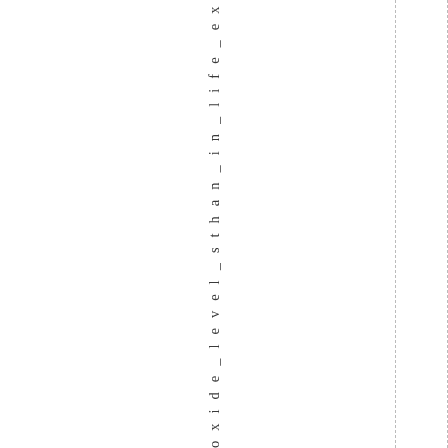oxide_level_sthan_in_life_expe